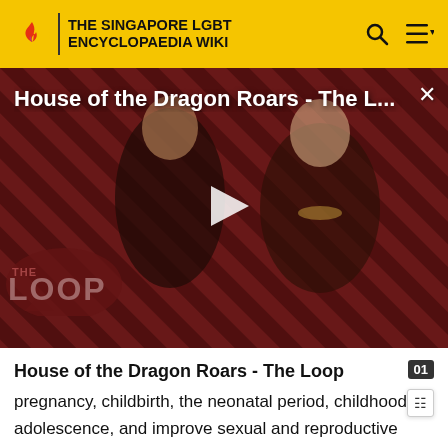THE SINGAPORE LGBT ENCYCLOPAEDIA WIKI
[Figure (screenshot): Video thumbnail for 'House of the Dragon Roars - The L...' with a play button in the center. Shows two characters from the show against a red diagonal striped background with 'THE LOOP' logo overlay in the lower left.]
House of the Dragon Roars - The Loop
pregnancy, childbirth, the neonatal period, childhood and adolescence, and improve sexual and reproductive health and promote active and healthy aging for all individuals" [22][31]